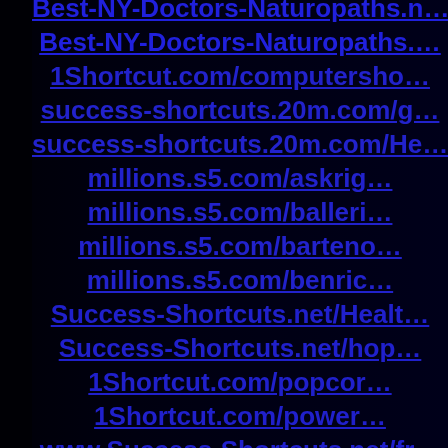Best-NY-Doctors-Naturopaths.n...
Best-NY-Doctors-Naturopaths....
1Shortcut.com/computersho...
success-shortcuts.20m.com/g...
success-shortcuts.20m.com/He...
millions.s5.com/askrig...
millions.s5.com/balleri...
millions.s5.com/barteno...
millions.s5.com/benric...
Success-Shortcuts.net/Healt...
Success-Shortcuts.net/hoo...
1Shortcut.com/popcor...
1Shortcut.com/power...
www.Success-Shortcuts.net/fr...
www.Success-Shortcuts.us/t...
www.Success-Shortcuts.us...
helpmedoctor.org/impo...